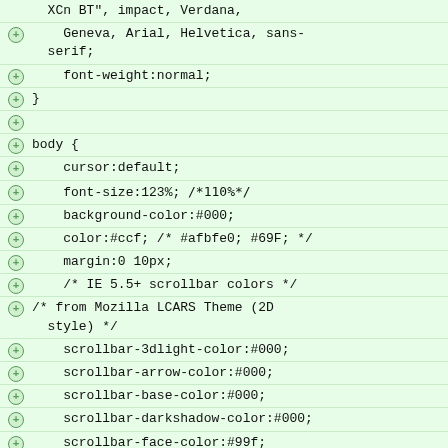XCn BT", impact, Verdana,
Geneva, Arial, Helvetica, sans-serif;
font-weight:normal;
}
body {
cursor:default;
font-size:123%; /*110%*/
background-color:#000;
color:#ccf; /* #afbfe0; #69F; */
margin:0 10px;
/* IE 5.5+ scrollbar colors */
/* from Mozilla LCARS Theme (2D style) */
scrollbar-3dlight-color:#000;
scrollbar-arrow-color:#000;
scrollbar-base-color:#000;
scrollbar-darkshadow-color:#000;
scrollbar-face-color:#99f;
scrollbar-highlight-color:#99f;
scrollbar-track-color:#000;
scrollbar-shadow-color:#99f;
}